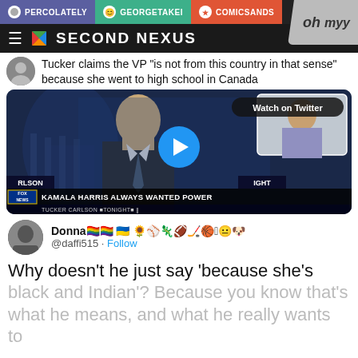PERCOLATELY | GEORGETAKEI | COMICSANDS
SECOND NEXUS
Tucker claims the VP “is not from this country in that sense” because she went to high school in Canada
[Figure (screenshot): Video thumbnail showing Tucker Carlson on Fox News with chyron 'KAMALA HARRIS ALWAYS WANTED POWER' and 'Watch on Twitter' badge, with play button overlay]
Donna️⃣️⃣ 🇺🇦 🌻⚾🦎🏈🏒🏀🢍😐🐶 @daffi515 · Follow
Why doesn't he just say 'because she's black and Indian'? Because you know that's what he means, and what he really wants to